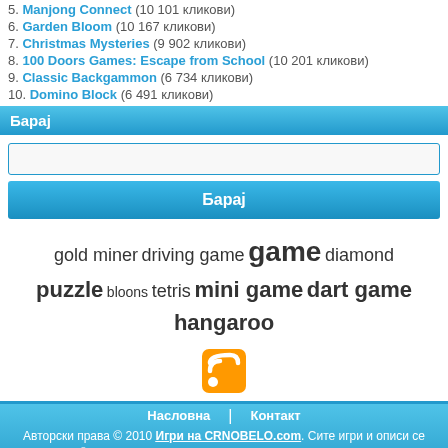5. Manjong Connect (10 101 кликови)
6. Garden Bloom (10 167 кликови)
7. Christmas Mysteries (9 902 кликови)
8. 100 Doors Games: Escape from School (10 201 кликови)
9. Classic Backgammon (6 734 кликови)
10. Domino Block (6 491 кликови)
Барај
gold miner driving game game diamond puzzle bloons tetris mini game dart game hangaroo
[Figure (other): RSS feed icon - orange square with white RSS signal symbol]
Насловна | Контакт
Авторски права © 2010 Игри на CRNOBELO.com. Сите игри и описи се заштитени © од страна на нивните соодветни сопственици. Сите права се задржани.
Powered by onArcade